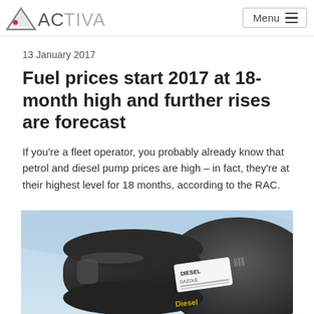ACTIVA | Menu
13 January 2017
Fuel prices start 2017 at 18-month high and further rises are forecast
If you're a fleet operator, you probably already know that petrol and diesel pump prices are high – in fact, they're at their highest level for 18 months, according to the RAC.
[Figure (photo): Close-up photo of a diesel fuel pump nozzle being inserted into a vehicle fuel cap, with a blue background. The nozzle is black and has a label reading DIESEL / GAZOLE. The word Diesel is also visible on the fuel cap.]